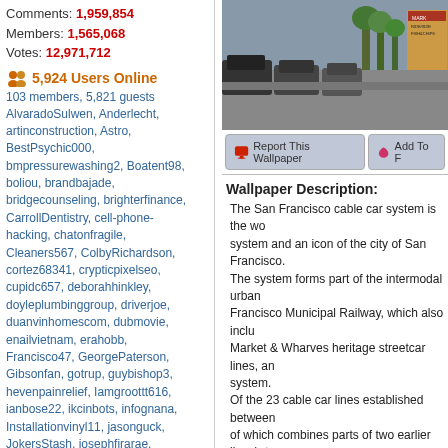Comments: 1,959,854
Members: 1,565,068
Votes: 12,971,712
5,924 Users Online
103 members, 5,821 guests
AlvaradoSulwen, Anderlecht, artinconstruction, Astro, BestPsychic000, bmpressurewashing2, Boatent98, boliou, brandbajade, bridgecounseling, brighterfinance, CarrollDentistry, cell-phone-hacking, chatonfragile, Cleaners567, ColbyRichardson, cortez68341, crypticpixelseo, cupidc657, deborahhinkley, doyleplumbinggroup, driverjoe, duanvinhomescom, dubmovie, enailvietnam, erahobb, Francisco47, GeorgePaterson, Gibsonfan, gotrup, guybishop3, hevenpainrelief, Iamgroottt616, ianbose22, ikcinbots, infognana, Installationvinyl11, jasonguck, JokersStash, josephfirarae, jun8888, KayaXu8, khungnhomkinhvietphon..., kinggohan, Lalina, Lamamake, leonbetappin, lertuiosq, lilla811, lirikmerch, maayash, macthanhvu, marquisbarkley, mayapatil281995, McKinneysTX, mikepaxson, missshweta, mistydaydream1, mod.CG, modzoro, mumtazdental, now888today, phaesir777
[Figure (photo): Photo of San Francisco street with cars lined up, traffic scene with trees and signage visible]
Report This Wallpaper
Add To F
Wallpaper Description:
The San Francisco cable car system is the wo system and an icon of the city of San Francisco. The system forms part of the intermodal urban Francisco Municipal Railway, which also inclu Market & Wharves heritage streetcar lines, an system. Of the 23 cable car lines established between of which combines parts of two earlier lines): t Square to Fisherman's Wharf, and a third rout While the cable cars are used to a certain ext the millions of passengers who use the syste result, the wait to get on can often reach two h They are among the most significant tourist at Island, the Golden Gate Bridge, and Fisherma San Francisco's cable cars are listed on the N are designated as a National Historic Landma
Wallpaper Groups
Vintage and Retro
5,184  209  1